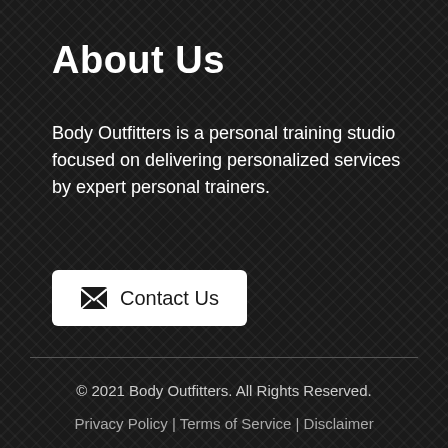About Us
Body Outfitters is a personal training studio focused on delivering personalized services by expert personal trainers.
Contact Us
© 2021 Body Outfitters. All Rights Reserved.
Privacy Policy | Terms of Service | Disclaimer